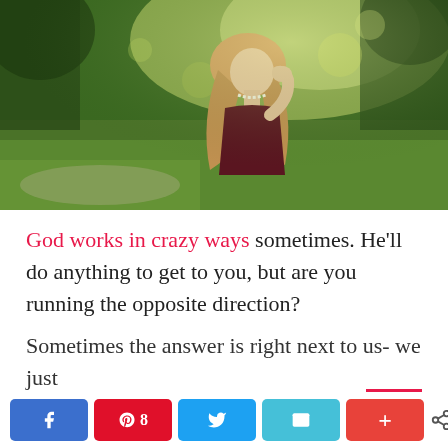[Figure (photo): A young blonde woman in a dark red top and pearl necklace, hands clasped in prayer, eyes closed, outdoors in a park with green trees and sunlight]
God works in crazy ways sometimes. He'll do anything to get to you, but are you running the opposite direction?
Sometimes the answer is right next to us- we just
45 SHARES — social share buttons: Facebook, Pinterest 8, Twitter, Email, More